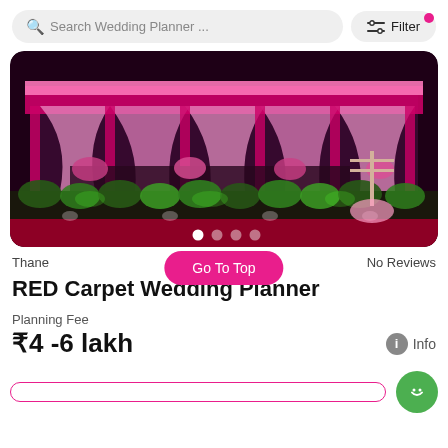Search Wedding Planner ...
Filter
[Figure (photo): Wedding decoration venue at night with pink and magenta lighting, draped fabric backdrop, floral arrangements, and green-lit plants in foreground. Red carpet visible in front.]
Thane
No Reviews
Go To Top
RED Carpet Wedding Planner
Planning Fee
₹4 -6 lakh
Info